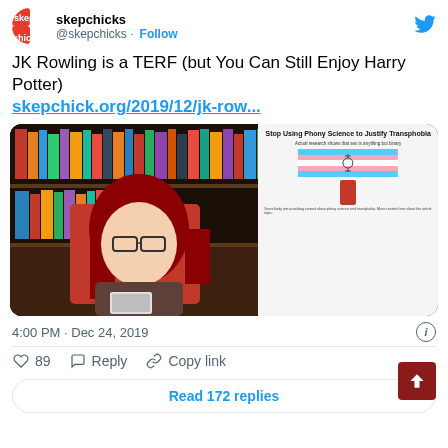skepchicks @skepchicks · Follow
JK Rowling is a TERF (but You Can Still Enjoy Harry Potter) skepchick.org/2019/12/jk-row...
[Figure (screenshot): Video thumbnail showing a woman with red hair and glasses sitting in front of bookshelves, holding a book, alongside an article preview titled 'Stop Using Phony Science to Justify Transphobia' with a transgender flag graphic]
4:00 PM · Dec 24, 2019
89  Reply  Copy link
Read 172 replies